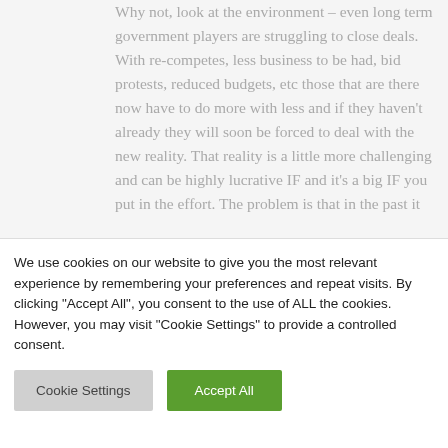Why not, look at the environment – even long term government players are struggling to close deals.  With re-competes, less business to be had, bid protests, reduced budgets, etc those that are there now have to do more with less and if they haven't already they will soon be forced to deal with the new reality.  That reality is a little more challenging and can be highly lucrative IF and it's a big IF you put in the effort.  The problem is that in the past it
[Figure (other): Social media share buttons: Facebook (dark blue), Twitter (cyan), Flickr (pink/magenta)]
We use cookies on our website to give you the most relevant experience by remembering your preferences and repeat visits. By clicking "Accept All", you consent to the use of ALL the cookies. However, you may visit "Cookie Settings" to provide a controlled consent.